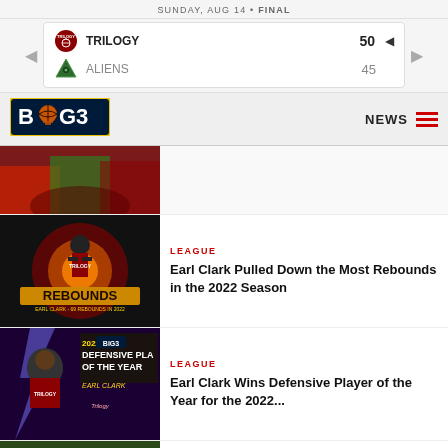SUNDAY, AUG 14 • FINAL
| Team | Score |
| --- | --- |
| TRILOGY | 50 |
| ALIENS | 45 |
[Figure (logo): BIG3 league logo]
NEWS
[Figure (photo): Sports action photo at top - partial view of basketball players]
LEAGUE
Earl Clark Pulled Down the Most Rebounds in the 2022 Season
[Figure (photo): Earl Clark - 69 Rebounds in 2022 promotional graphic with fire effects]
LEAGUE
Earl Clark Wins Defensive Player of the Year for the 2022...
[Figure (photo): 2022 BIG3 Awards - Defensive Player of the Year - Earl Clark - Trilogy]
LEAGUE
[Figure (photo): Partial photo of basketball players at bottom]